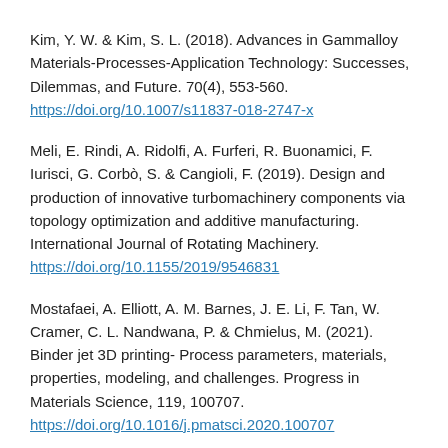Kim, Y. W. & Kim, S. L. (2018). Advances in Gammalloy Materials-Processes-Application Technology: Successes, Dilemmas, and Future. 70(4), 553-560. https://doi.org/10.1007/s11837-018-2747-x
Meli, E. Rindi, A. Ridolfi, A. Furferi, R. Buonamici, F. Iurisci, G. Corbò, S. & Cangioli, F. (2019). Design and production of innovative turbomachinery components via topology optimization and additive manufacturing. International Journal of Rotating Machinery. https://doi.org/10.1155/2019/9546831
Mostafaei, A. Elliott, A. M. Barnes, J. E. Li, F. Tan, W. Cramer, C. L. Nandwana, P. & Chmielus, M. (2021). Binder jet 3D printing- Process parameters, materials, properties, modeling, and challenges. Progress in Materials Science, 119, 100707. https://doi.org/10.1016/j.pmatsci.2020.100707
Pitot, J. Lopez, E. Leary, M. Berto, F. & du Plessis, A. (2021).